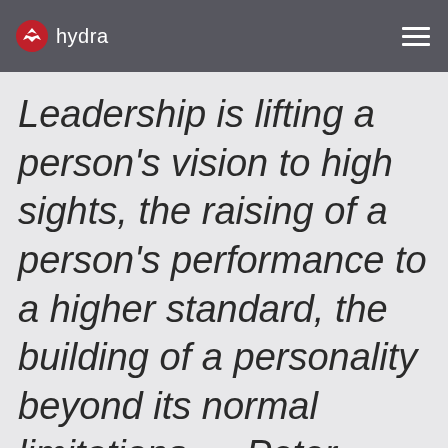hydra
Leadership is lifting a person's vision to high sights, the raising of a person's performance to a higher standard, the building of a personality beyond its normal limitations. —Peter Drucker